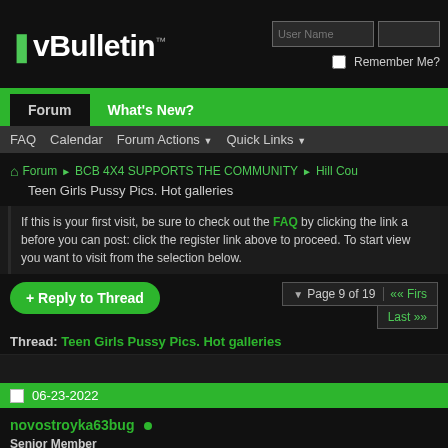vBulletin
Forum | What's New?
FAQ  Calendar  Forum Actions  Quick Links
Forum ► BCB 4X4 SUPPORTS THE COMMUNITY ► Hill Cou
Teen Girls Pussy Pics. Hot galleries
If this is your first visit, be sure to check out the FAQ by clicking the link a before you can post: click the register link above to proceed. To start view you want to visit from the selection below.
+ Reply to Thread   Page 9 of 19  ◄◄ Firs  Last ►►
Thread: Teen Girls Pussy Pics. Hot galleries
06-23-2022
novostroyka63bug ●
Senior Member
Joseph Vinson 2020